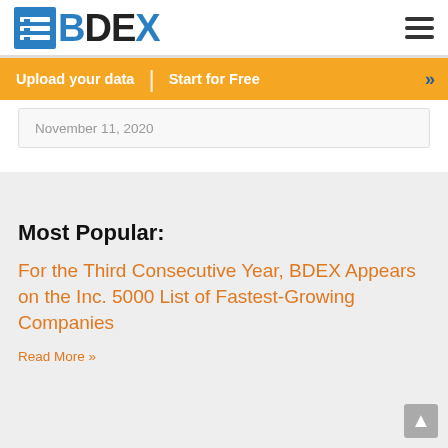[Figure (logo): BDEX logo with blue grid icon and bold text BDEX]
[Figure (other): Hamburger menu icon (three horizontal lines)]
Upload your data | Start for Free >>
November 11, 2020
Most Popular:
For the Third Consecutive Year, BDEX Appears on the Inc. 5000 List of Fastest-Growing Companies
Read More »